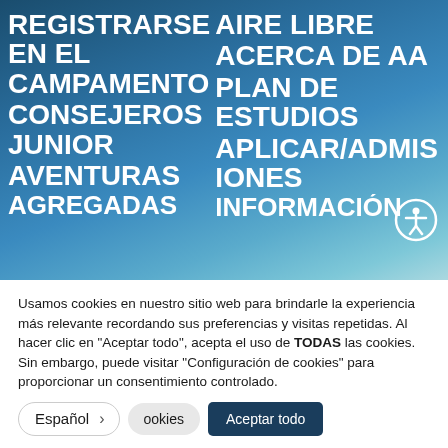[Figure (screenshot): Website navigation menu screenshot with blue mountain/outdoor background showing navigation links in white bold uppercase text in two columns]
Usamos cookies en nuestro sitio web para brindarle la experiencia más relevante recordando sus preferencias y visitas repetidas. Al hacer clic en "Aceptar todo", acepta el uso de TODAS las cookies. Sin embargo, puede visitar "Configuración de cookies" para proporcionar un consentimiento controlado.
Español >
ookies
Aceptar todo